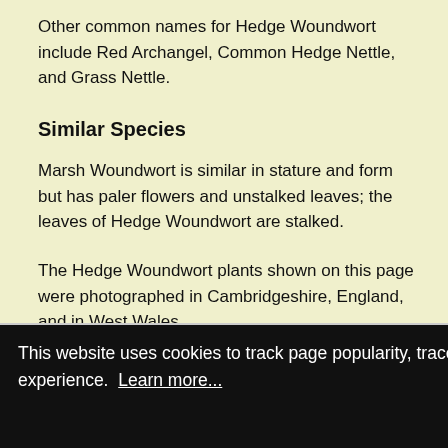Other common names for Hedge Woundwort include Red Archangel, Common Hedge Nettle, and Grass Nettle.
Similar Species
Marsh Woundwort is similar in stature and form but has paler flowers and unstalked leaves; the leaves of Hedge Woundwort are stalked.
The Hedge Woundwort plants shown on this page were photographed in Cambridgeshire, England, and in West Wales.
This website uses cookies to track page popularity, trace errors and improve user experience. Learn more...
Got it!
esting
online
s will
s Trust
nd
publisher, proceeds from its use by Pat and Sue